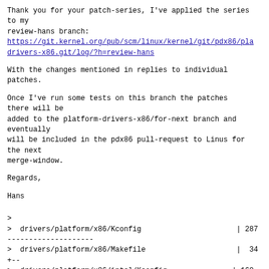Thank you for your patch-series, I've applied the series to my
review-hans branch:
https://git.kernel.org/pub/scm/linux/kernel/git/pdx86/pla
drivers-x86.git/log/?h=review-hans
With the changes mentioned in replies to individual patches.
Once I've run some tests on this branch the patches there will be
added to the platform-drivers-x86/for-next branch and eventually
will be included in the pdx86 pull-request to Linus for the next
merge-window.
Regards,
Hans
>
>  drivers/platform/x86/Kconfig                         | 287
--------------------
>  drivers/platform/x86/Makefile                         |  34
+--
>  drivers/platform/x86/intel/Kconfig                   | 160
++++++++++